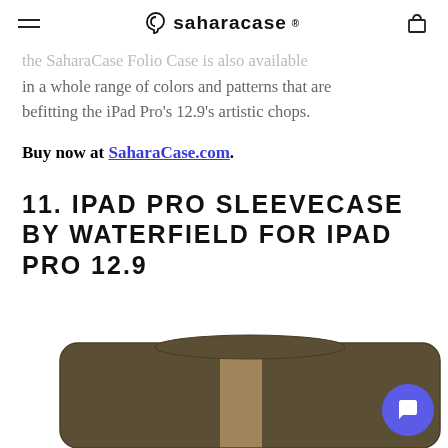SaharaCase ®
...the SaharaCase Folio Case is also available in a whole range of colors and patterns that are befitting the iPad Pro's 12.9's artistic chops.
Buy now at SaharaCase.com.
11. IPAD PRO SLEEVECASE BY WATERFIELD FOR IPAD PRO 12.9
[Figure (photo): Partial view of a brown/olive suede iPad sleeve case with a tan stripe accent, shown from above on a white background. A blue chat button is visible in the bottom right corner.]